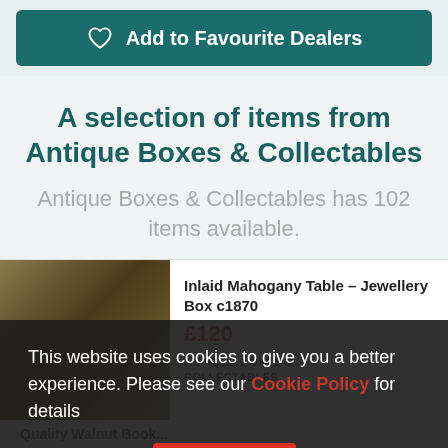Add to Favourite Dealers
A selection of items from Antique Boxes & Collectables
Antique Boxes & Collectables has 102 items available.
Inlaid Mahogany Table – Jewellery Box c1870
[Figure (photo): Photo of a dark mahogany antique jewellery box]
£120
ANTIQUE BOXES & COLLECTABLES
This website uses cookies to give you a better experience. Please see our Cookie Policy for details
Got it
Quality Walnut Book...